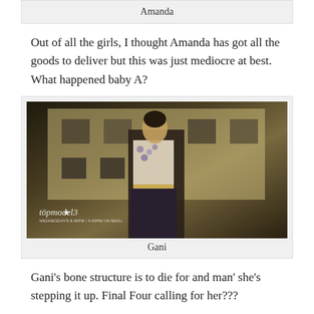Amanda
Out of all the girls, I thought Amanda has got all the goods to deliver but this was just mediocre at best. What happened baby A?
[Figure (photo): Photo of model Gani posing outdoors in front of a white building, wearing a white vest/jacket over a floral print blouse with a chain belt and dark skirt. Top Model 3 logo watermark visible at bottom left.]
Gani
Gani's bone structure is to die for and man' she's stepping it up. Final Four calling for her???